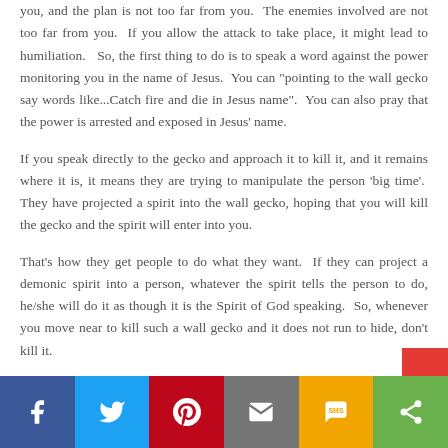you, and the plan is not too far from you. The enemies involved are not too far from you. If you allow the attack to take place, it might lead to humiliation. So, the first thing to do is to speak a word against the power monitoring you in the name of Jesus. You can "pointing to the wall gecko say words like...Catch fire and die in Jesus name". You can also pray that the power is arrested and exposed in Jesus' name.
If you speak directly to the gecko and approach it to kill it, and it remains where it is, it means they are trying to manipulate the person 'big time'. They have projected a spirit into the wall gecko, hoping that you will kill the gecko and the spirit will enter into you.
That's how they get people to do what they want. If they can project a demonic spirit into a person, whatever the spirit tells the person to do, he/she will do it as though it is the Spirit of God speaking. So, whenever you move near to kill such a wall gecko and it does not run to hide, don't kill it.